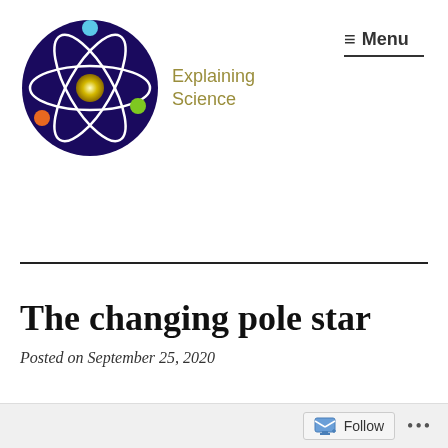[Figure (logo): Explaining Science logo: atom diagram inside dark purple circle with colored electron dots, beside text 'Explaining Science' in olive/gold color]
≡ Menu
The changing pole star
Posted on September 25, 2020
Follow